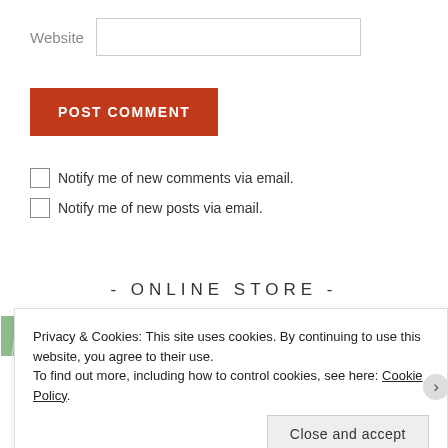Website
POST COMMENT
Notify me of new comments via email.
Notify me of new posts via email.
- ONLINE STORE -
[Figure (other): Green tile mosaic banner image]
Privacy & Cookies: This site uses cookies. By continuing to use this website, you agree to their use.
To find out more, including how to control cookies, see here: Cookie Policy
Close and accept